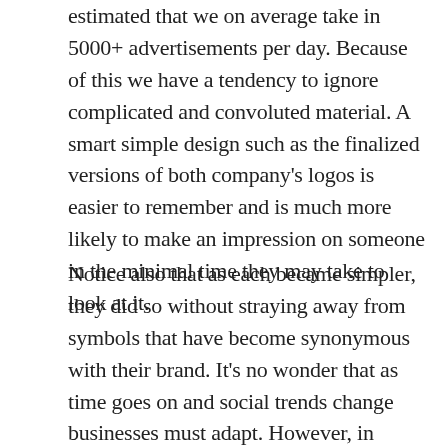estimated that we on average take in 5000+ advertisements per day. Because of this we have a tendency to ignore complicated and convoluted material. A smart simple design such as the finalized versions of both company's logos is easier to remember and is much more likely to make an impression on someone in the minimal time they may take to look at it.
Notice also that as each became simpler, they did so without straying away from symbols that have become synonymous with their brand. It's no wonder that as time goes on and social trends change businesses must adapt. However, in adapting it is important to adhere to the things that have att...